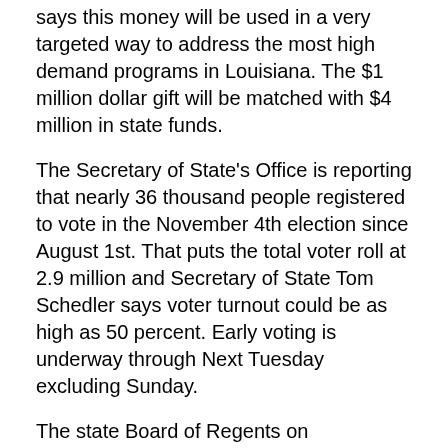says this money will be used in a very targeted way to address the most high demand programs in Louisiana. The $1 million dollar gift will be matched with $4 million in state funds.
The Secretary of State's Office is reporting that nearly 36 thousand people registered to vote in the November 4th election since August 1st. That puts the total voter roll at 2.9 million and Secretary of State Tom Schedler says voter turnout could be as high as 50 percent. Early voting is underway through Next Tuesday excluding Sunday.
The state Board of Regents on Wednesday approved a $350,000 contract for incoming Higher Education Commissioner Joseph Rallo. The contract, as the board unanimously voted, runs through Dec. 31, 2017 and is subject to Louisiana Senate confirmation. He's slated to start the job Jan. 2. Rallo, who is finishing up a seven-year tenure with the Texas Tech System, was selected for the post earlier this month.
Cold and flu season is upon us and people are looking.